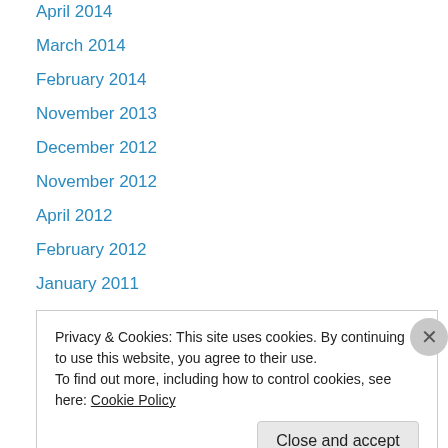April 2014
March 2014
February 2014
November 2013
December 2012
November 2012
April 2012
February 2012
January 2011
Recent Posts
How Bout It?
Privacy & Cookies: This site uses cookies. By continuing to use this website, you agree to their use.
To find out more, including how to control cookies, see here: Cookie Policy
Close and accept